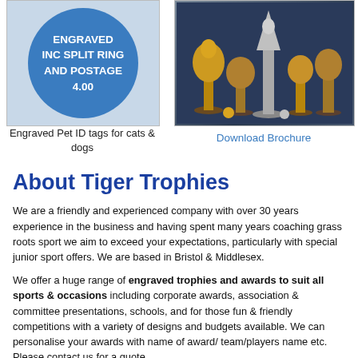[Figure (photo): Blue circular engraved pet ID tag with text: ENGRAVED INC SPLIT RING AND POSTAGE 4.00]
[Figure (photo): Collection of sports trophies and medals displayed on a blue surface]
Engraved Pet ID tags for cats & dogs
Download Brochure
About Tiger Trophies
We are a friendly and experienced company with over 30 years experience in the business and having spent many years coaching grass roots sport we aim to exceed your expectations, particularly with special junior sport offers.  We are based in Bristol & Middlesex.
We offer a huge range of engraved trophies and awards to suit all sports & occasions including corporate awards, association & committee presentations, schools, and for those fun & friendly competitions with a variety of designs and budgets available. We can personalise your awards with name of award/ team/players name etc.  Please contact us for a quote.
Thought about a Club sponsors wall? Why not dedicate a wall or